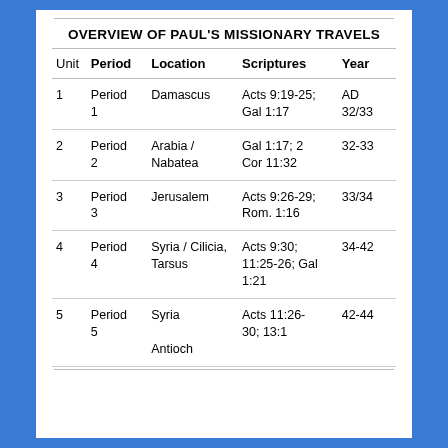OVERVIEW OF PAUL'S MISSIONARY TRAVELS
| Unit | Period | Location | Scriptures | Year |
| --- | --- | --- | --- | --- |
| 1 | Period 1 | Damascus | Acts 9:19-25; Gal 1:17 | AD 32/33 |
| 2 | Period 2 | Arabia / Nabatea | Gal 1:17; 2 Cor 11:32 | 32-33 |
| 3 | Period 3 | Jerusalem | Acts 9:26-29; Rom. 1:16 | 33/34 |
| 4 | Period 4 | Syria / Cilicia, Tarsus | Acts 9:30; 11:25-26; Gal 1:21 | 34-42 |
| 5 | Period 5 | Syria Antioch | Acts 11:26-30; 13:1 | 42-44 |